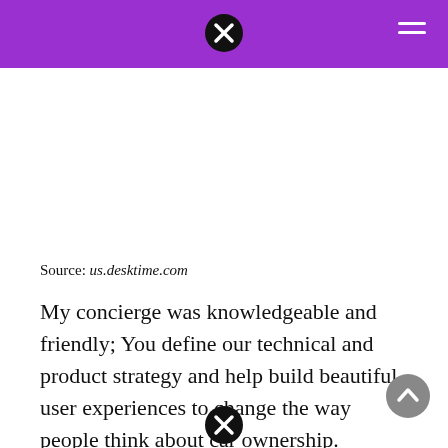Source: us.desktime.com
My concierge was knowledgeable and friendly; You define our technical and product strategy and help build beautiful user experiences to change the way people think about car ownership.